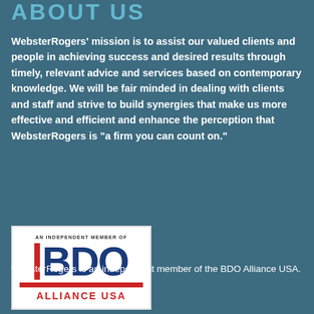ABOUT US
WebsterRogers' mission is to assist our valued clients and people in achieving success and desired results through timely, relevant advice and services based on contemporary knowledge.  We will be fair minded in dealing with clients and staff and strive to build synergies that make us more effective and efficient and enhance the perception that WebsterRogers is “a firm you can count on.”
[Figure (logo): BDO Alliance USA logo on white background. Top text: AN INDEPENDENT MEMBER OF. Large blue BDO letters with red vertical bar on left. Red horizontal underline bar. Red text: ALLIANCE USA.]
WebsterRogers is an independent member of the BDO Alliance USA.